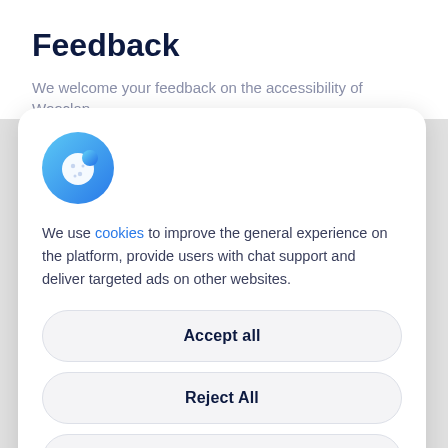Feedback
We welcome your feedback on the accessibility of Wooclap
[Figure (illustration): Blue gradient circle with a white cookie icon in the center]
We use cookies to improve the general experience on the platform, provide users with chat support and deliver targeted ads on other websites.
Accept all
Reject All
Customise